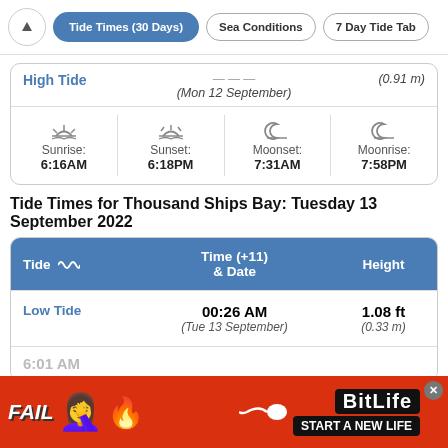Tide Times (30 Days) | Sea Conditions | 7 Day Tide Tab
| High Tide | (Mon 12 September) | (0.91 m) |
| --- | --- | --- |
| Sunrise: 6:16AM | Sunset: 6:18PM | Moonset: 7:31AM | Moonrise: 7:58PM |
| --- | --- | --- | --- |
Tide Times for Thousand Ships Bay: Tuesday 13 September 2022
| Tide | Time (+11) & Date | Height |
| --- | --- | --- |
| Low Tide | 00:26 AM
(Tue 13 September) | 1.08 ft
(0.33 m) |